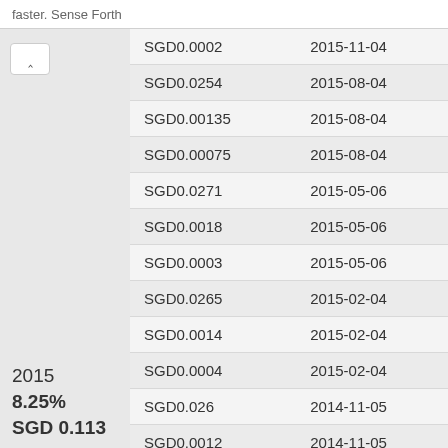faster. Sense Forth
| Amount | Date |
| --- | --- |
| SGD0.0002 | 2015-11-04 |
| SGD0.0254 | 2015-08-04 |
| SGD0.00135 | 2015-08-04 |
| SGD0.00075 | 2015-08-04 |
| SGD0.0271 | 2015-05-06 |
| SGD0.0018 | 2015-05-06 |
| SGD0.0003 | 2015-05-06 |
| SGD0.0265 | 2015-02-04 |
| SGD0.0014 | 2015-02-04 |
| SGD0.0004 | 2015-02-04 |
| SGD0.026 | 2014-11-05 |
| SGD0.0012 | 2014-11-05 |